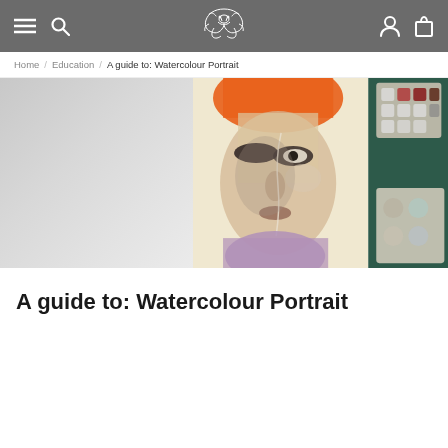Navigation bar with menu, search, logo, user account, and shopping bag icons
Home / Education / A guide to: Watercolour Portrait
[Figure (photo): Hero banner showing a watercolour portrait painting of a woman's face with orange hair and dark eye makeup on the left, and art supplies including a watercolour paint palette on a dark background on the right]
A guide to: Watercolour Portrait